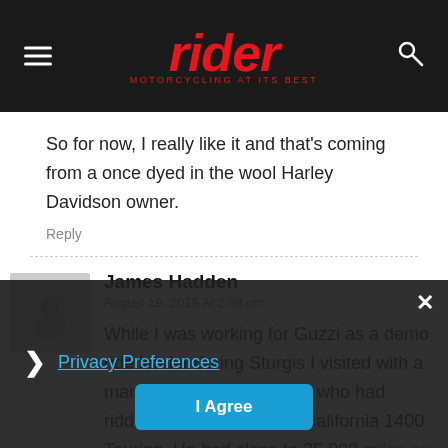[Figure (logo): Rider magazine logo — red italic 'rider' text with tagline 'MOTORCYCLING AT ITS BEST' on dark background, with hamburger menu icon on left and search icon on right]
So for now, I really like it and that's coming from a once dyed in the wool Harley Davidson owner.
Reply
James Hadden
August 19, 2016 At 2:08 pm
While I was working for Guzzi as a demo ride leader during Sturgis I visited with a man from the Seattle area who had ridden there on his 2014 California 1400 Touring. He had close to 35,000 miles on it. I asked if he'd had any issues and he proudly reported "None!" I visited with one of the Piaggio Group gu…
Privacy Preferences
I Agree